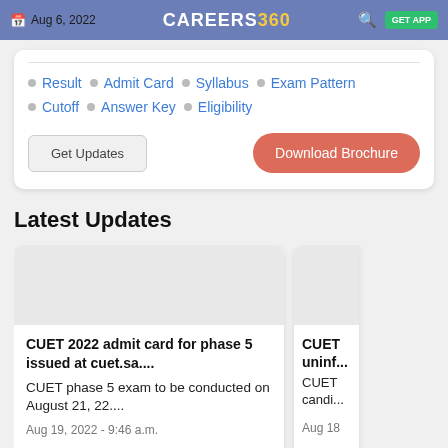Aug 6, 2022 | CAREERS360 | GET APP
Result • Admit Card • Syllabus • Exam Pattern
Cutoff • Answer Key • Eligibility
Get Updates | Download Brochure
Latest Updates
CUET 2022 admit card for phase 5 issued at cuet.sa.... CUET phase 5 exam to be conducted on August 21, 22.... Aug 19, 2022 - 9:46 a.m.
CUET uninf... CUET candi... Aug 18